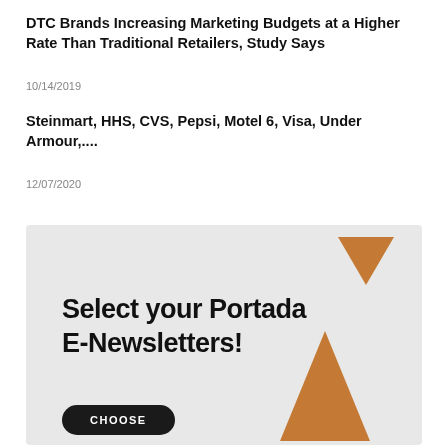DTC Brands Increasing Marketing Budgets at a Higher Rate Than Traditional Retailers, Study Says
10/14/2019
Steinmart, HHS, CVS, Pepsi, Motel 6, Visa, Under Armour,....
12/07/2020
[Figure (illustration): Advertisement box with light gray background showing 'Select your Portada E-Newsletters!' text, orange/brown triangles decorative elements, and a dark CHOOSE button at bottom left.]